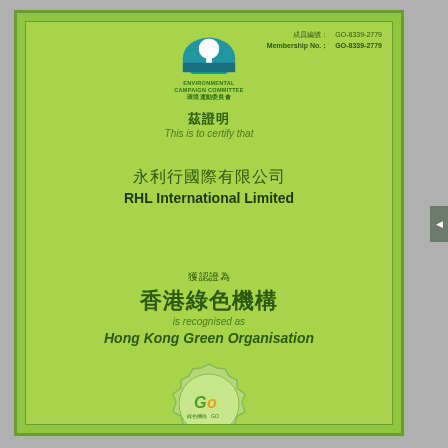[Figure (logo): Environmental Campaign Committee logo with white tree on blue semicircle background, with Chinese and English text below]
成員編號: GO-8339-2779
Membership No.: GO-8339-2779
茲證明
This is to certify that
永利行國際有限公司
RHL International Limited
獲認證為
香港綠色機構
is recognised as
Hong Kong Green Organisation
[Figure (logo): Green Organisation seal/stamp in green wax seal style with GO logo and Chinese/English text]